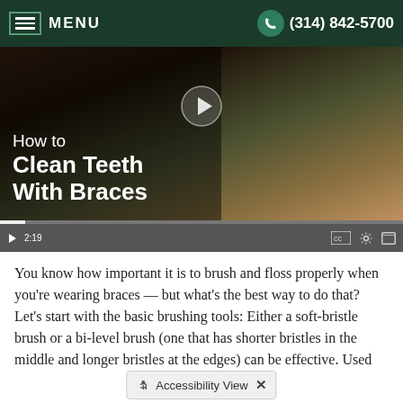MENU  (314) 842-5700
[Figure (screenshot): Video thumbnail showing a young woman with braces brushing her teeth. Title text reads 'How to Clean Teeth With Braces'. Video duration 2:19. Controls bar with play button, closed captions, settings, and fullscreen icons.]
You know how important it is to brush and floss properly when you're wearing braces — but what's the best way to do that? Let's start with the basic brushing tools: Either a soft-bristle brush or a bi-level brush (one that has shorter bristles in the middle and longer bristles at the edges) can be effective. Used carefully, an electric toothbrush can work just as well. But be sure the electric brush is set to a moderate power level, and don't let its vibrations cause the back of the brush to hit the braces!
Accessibility View  ×